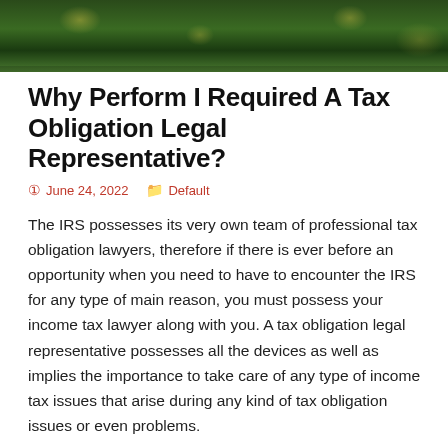[Figure (photo): Photo of green pine/fir tree branches with Christmas lights bokeh in background]
Why Perform I Required A Tax Obligation Legal Representative?
June 24, 2022   Default
The IRS possesses its very own team of professional tax obligation lawyers, therefore if there is ever before an opportunity when you need to have to encounter the IRS for any type of main reason, you must possess your income tax lawyer along with you. A tax obligation legal representative possesses all the devices as well as implies the importance to take care of any type of income tax issues that arise during any kind of tax obligation issues or even problems.
It is correct yet unfavorable, that lots of individuals carry out certainly not also think about getting in touch with